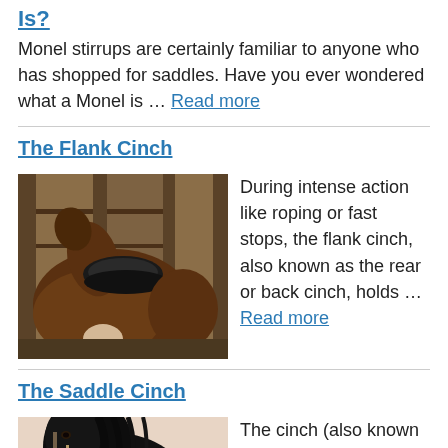Is?
Monel stirrups are certainly familiar to anyone who has shopped for saddles. Have you ever wondered what a Monel is ... Read more
The Flank Cinch
[Figure (photo): A brown horse with a black saddle standing in a stable with wooden stalls in the background]
During intense action like roping or fast stops, the flank cinch, also known as the rear or back cinch, holds ... Read more
The Saddle Cinch
[Figure (photo): Close-up portrait of a dark black horse's head with bridle against a light pink/beige background]
The cinch (also known as the front cinch) is a wide